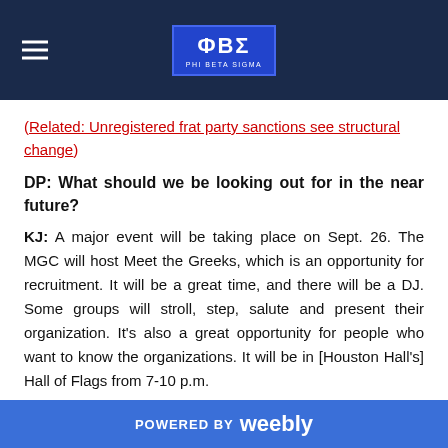ΦΒΣ PHI BETA SIGMA
(Related: Unregistered frat party sanctions see structural change)
DP: What should we be looking out for in the near future?
KJ: A major event will be taking place on Sept. 26. The MGC will host Meet the Greeks, which is an opportunity for recruitment. It will be a great time, and there will be a DJ. Some groups will stroll, step, salute and present their organization. It's also a great opportunity for people who want to know the organizations. It will be in [Houston Hall's] Hall of Flags from 7-10 p.m.
POWERED BY weebly